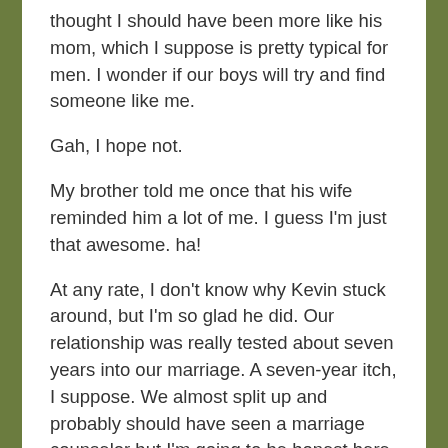thought I should have been more like his mom, which I suppose is pretty typical for men. I wonder if our boys will try and find someone like me.
Gah, I hope not.
My brother told me once that his wife reminded him a lot of me. I guess I'm just that awesome. ha!
At any rate, I don't know why Kevin stuck around, but I'm so glad he did. Our relationship was really tested about seven years into our marriage. A seven-year itch, I suppose. We almost split up and probably should have seen a marriage counselor but I'm going to be honest here, (actually, when am I not), the thought of spilling our guts to a third party who may, or may not, have our best interests at heart did not appeal to me AT ALL. I figured, we were two intelligent adults, surely we could work this